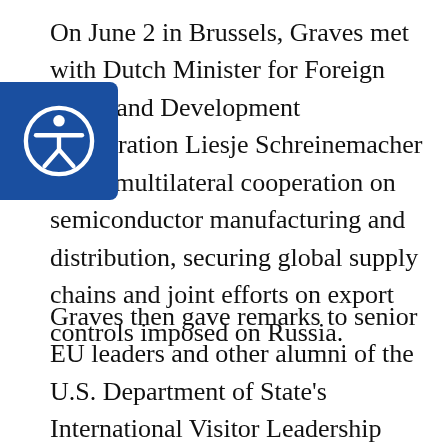On June 2 in Brussels, Graves met with Dutch Minister for Foreign Trade and Development Cooperation Liesje Schreinemacher about multilateral cooperation on semiconductor manufacturing and distribution, securing global supply chains and joint efforts on export controls imposed on Russia.
Graves then gave remarks to senior EU leaders and other alumni of the U.S. Department of State's International Visitor Leadership Program during the Transatlantic Alumni Reception where he highlighted the successes of the transatlantic partnership, the progress of the Trans-Atlantic Data Privacy Framework, and the goals of the U.S. Department of Commerce and